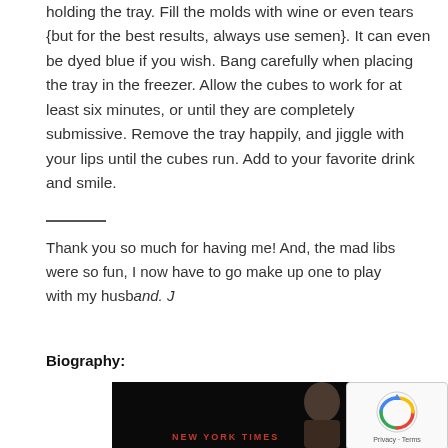holding the tray. Fill the molds with wine or even tears {but for the best results, always use semen}. It can even be dyed blue if you wish. Bang carefully when placing the tray in the freezer. Allow the cubes to work for at least six minutes, or until they are completely submissive. Remove the tray happily, and jiggle with your lips until the cubes run. Add to your favorite drink and smile.
Thank you so much for having me! And, the mad libs were so fun, I now have to go make up one to play with my husband. J
Biography:
[Figure (photo): Dark background image with 'NEW YORK TIMES' text in red at the bottom, and a partial view of a person's face on the right side.]